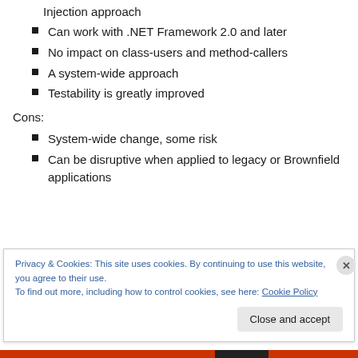Injection approach
Can work with .NET Framework 2.0 and later
No impact on class-users and method-callers
A system-wide approach
Testability is greatly improved
Cons:
System-wide change, some risk
Can be disruptive when applied to legacy or Brownfield applications
Privacy & Cookies: This site uses cookies. By continuing to use this website, you agree to their use. To find out more, including how to control cookies, see here: Cookie Policy
Close and accept